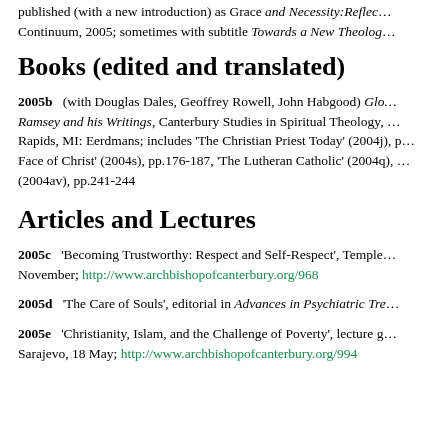published (with a new introduction) as Grace and Necessity:Reflec… Continuum, 2005; sometimes with subtitle Towards a New Theolog…
Books (edited and translated)
2005b (with Douglas Dales, Geoffrey Rowell, John Habgood) Glo… Ramsey and his Writings, Canterbury Studies in Spiritual Theology, Rapids, MI: Eerdmans; includes 'The Christian Priest Today' (2004j), p… Face of Christ' (2004s), pp.176-187, 'The Lutheran Catholic' (2004q), (2004av), pp.241-244
Articles and Lectures
2005c 'Becoming Trustworthy: Respect and Self-Respect', Temple… November; http://www.archbishopofcanterbury.org/968
2005d 'The Care of Souls', editorial in Advances in Psychiatric Tre…
2005e 'Christianity, Islam, and the Challenge of Poverty', lecture g… Sarajevo, 18 May; http://www.archbishopofcanterbury.org/994